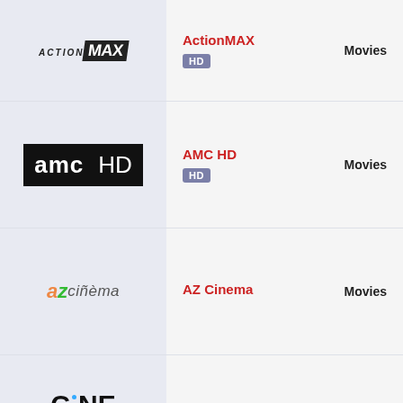[Figure (logo): ActionMAX channel logo]
ActionMAX
HD
Movies
[Figure (logo): AMC HD channel logo - black background with white text]
AMC HD
HD
Movies
[Figure (logo): AZ Cinema logo with colorful az and cinema text]
AZ Cinema
Movies
[Figure (logo): Cine Latino logo in bold black text]
Cine Latino
Movies